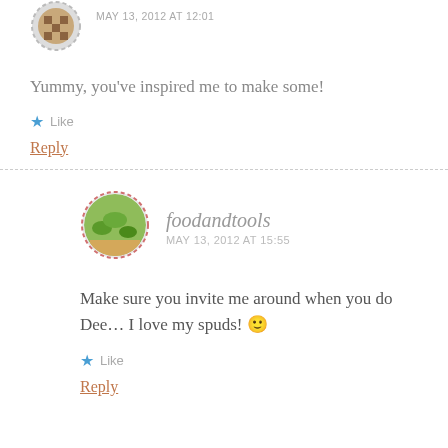[Figure (photo): Small circular avatar with dashed border showing a pixelated/brown image, partially visible at top]
MAY 13, 2012 AT 12:01
Yummy, you've inspired me to make some!
★ Like
Reply
[Figure (photo): Circular avatar with dashed pink/red border showing green vegetables/herbs]
foodandtools
MAY 13, 2012 AT 15:55
Make sure you invite me around when you do Dee... I love my spuds! 🙂
★ Like
Reply